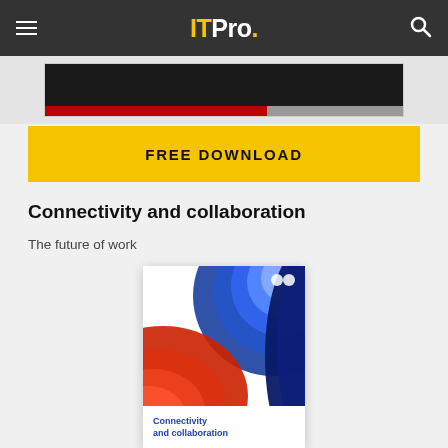ITPro.
[Figure (screenshot): Dark banner image with red and grey bar at bottom]
FREE DOWNLOAD
Connectivity and collaboration
The future of work
[Figure (photo): Cover of the 'Connectivity and collaboration' report showing swirling blue and red abstract shapes]